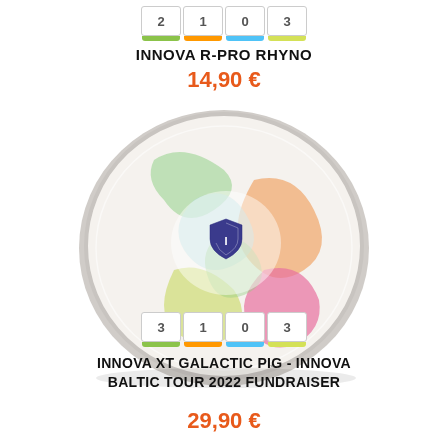[Figure (other): Disc golf flight numbers bar for Innova R-Pro Rhyno: 2, 1, 0, 3 with colored bars below]
INNOVA R-PRO RHYNO
14,90 €
[Figure (photo): Tie-dye multicolor disc golf disc (Innova XT Galactic Pig) with blue Innova shield logo in center]
[Figure (other): Disc golf flight numbers bar for Innova XT Galactic Pig: 3, 1, 0, 3 with colored bars below]
INNOVA XT GALACTIC PIG - INNOVA BALTIC TOUR 2022 FUNDRAISER
29,90 €